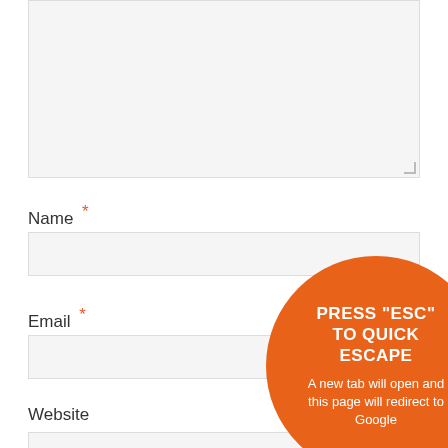[Figure (screenshot): A grey textarea input box (comment/message field) with resize handle at bottom-right corner]
Name *
[Figure (screenshot): A grey text input box for the Name field]
Email *
[Figure (screenshot): A grey text input box for the Email field]
[Figure (infographic): Orange circle badge with text: PRESS "ESC" TO QUICK ESCAPE. A new tab will open and this page will redirect to Google]
Website
[Figure (screenshot): A grey text input box for the Website field (partially visible at bottom)]